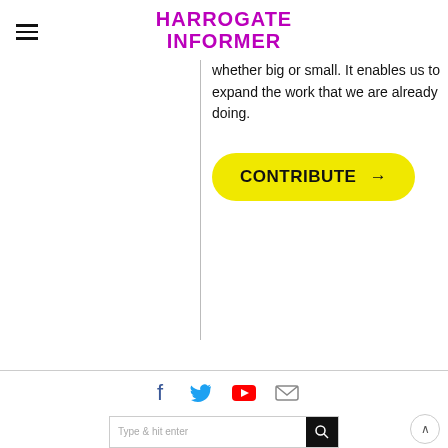HARROGATE INFORMER
whether big or small. It enables us to expand the work that we are already doing.
[Figure (other): Yellow rounded rectangle button with bold text 'CONTRIBUTE →']
[Figure (other): Social media icons: Facebook (blue), Twitter (blue), YouTube (red), Email (grey)]
[Figure (other): Search bar with placeholder text 'Type & hit enter' and black search button with magnifying glass icon]